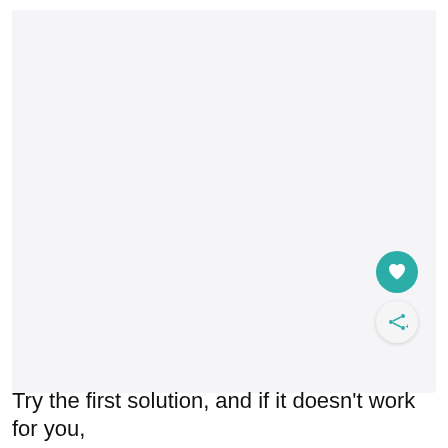[Figure (other): Large blank/empty content area with light gray background, a teal circular heart/favorite button and a white circular share button in the bottom-right corner]
Try the first solution, and if it doesn't work for you,